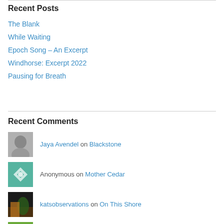Recent Posts
The Blank
While Waiting
Epoch Song – An Excerpt
Windhorse: Excerpt 2022
Pausing for Breath
Recent Comments
Jaya Avendel on Blackstone
Anonymous on Mother Cedar
katsobservations on On This Shore
jazzytower on Inspiration